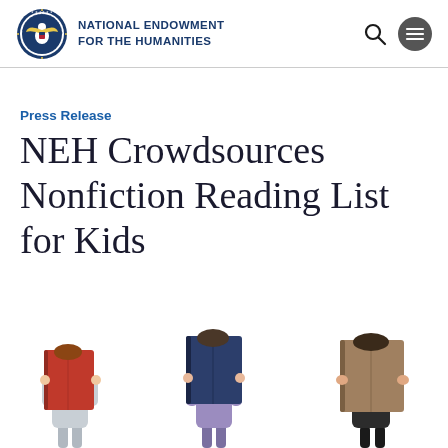NATIONAL ENDOWMENT FOR THE HUMANITIES
Press Release
NEH Crowdsources Nonfiction Reading List for Kids
[Figure (photo): Three children holding open books up in front of their faces. Left child holds a red book, center child holds a dark navy book, right child holds a brownish book. Children are on a white background.]